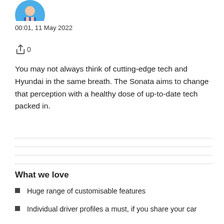[Figure (illustration): Circular avatar illustration of a person, partially visible at top of page]
00:01, 11 May 2022
[Figure (other): Share icon with count 0]
You may not always think of cutting-edge tech and Hyundai in the same breath. The Sonata aims to change that perception with a healthy dose of up-to-date tech packed in.
What we love
Huge range of customisable features
Individual driver profiles a must, if you share your car
A system that adapts to you, not the other way around